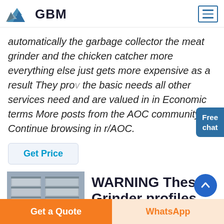[Figure (logo): GBM company logo with triangular mountain graphic in blue and grey, bold text 'GBM']
automatically the garbage collector the meat grinder and the chicken catcher more everything else just gets more expensive as a result They provide the basic needs all other services need and are valued in in Economic terms More posts from the AOC community Continue browsing in r/AOC.
Get Price
[Figure (photo): Industrial storage or warehouse shelving with stacked items]
WARNING These Grinder profiles
Get a Quote
WhatsApp